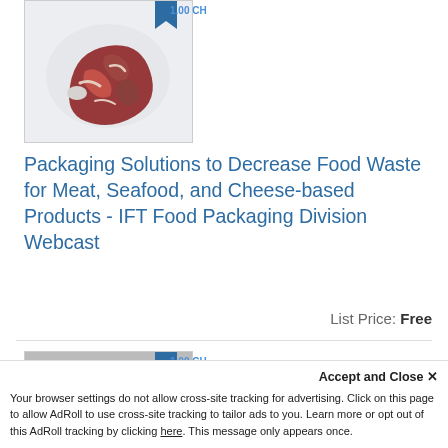[Figure (photo): Vacuum-sealed raw meat steak with a blue bookmark badge showing '1.00 CH']
Packaging Solutions to Decrease Food Waste for Meat, Seafood, and Cheese-based Products - IFT Food Packaging Division Webcast
List Price: Free
[Figure (photo): Second product thumbnail image with blue badge showing '1.00 CH' and a blue button on the right]
Accept and Close ✕
Your browser settings do not allow cross-site tracking for advertising. Click on this page to allow AdRoll to use cross-site tracking to tailor ads to you. Learn more or opt out of this AdRoll tracking by clicking here. This message only appears once.